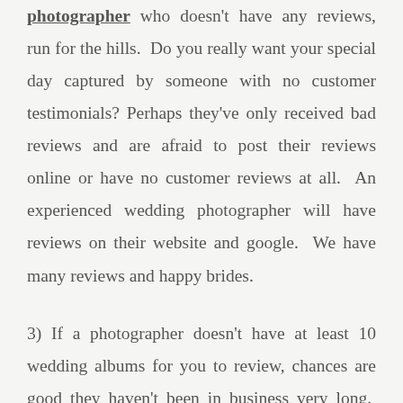photographer who doesn't have any reviews, run for the hills. Do you really want your special day captured by someone with no customer testimonials? Perhaps they've only received bad reviews and are afraid to post their reviews online or have no customer reviews at all. An experienced wedding photographer will have reviews on their website and google. We have many reviews and happy brides.
3) If a photographer doesn't have at least 10 wedding albums for you to review, chances are good they haven't been in business very long. Choose a wedding photographer with